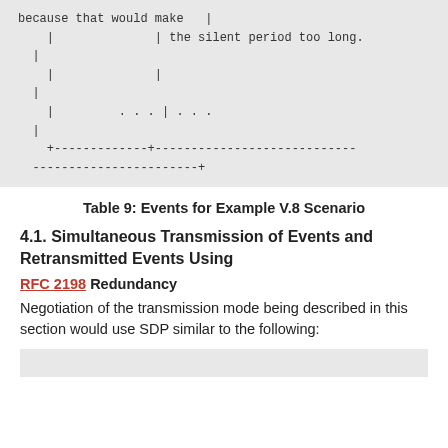[Figure (other): ASCII art table showing pipe-delimited rows with text content including 'because that would make | the silent period too long.' and dotted rows, ending with a horizontal rule made of dashes and plus signs]
Table 9: Events for Example V.8 Scenario
4.1. Simultaneous Transmission of Events and Retransmitted Events Using
RFC 2198 Redundancy
Negotiation of the transmission mode being described in this section would use SDP similar to the following: